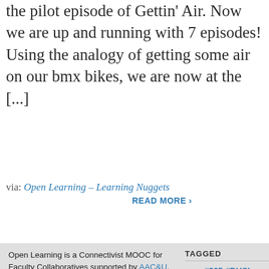the pilot episode of Gettin' Air. Now we are up and running with 7 episodes!  Using the analogy of getting some air on our bmx bikes, we are now at the [...]
via: Open Learning – Learning Nuggets
READ MORE ›
Open Learning is a Connectivist MOOC for Faculty Collaboratives supported by AAC&U.
Since 2017, its aim has been to provide a helpful and stimulating learning experience for all participants that results in measurable improvement in the use of digital affordances and sustainable professional development connections across Virginia and other areas (learn more…)
TAGGED
#365 #DHSI #HASTACScholar #openlearning #OpenLearning Pile Chores Design ds1